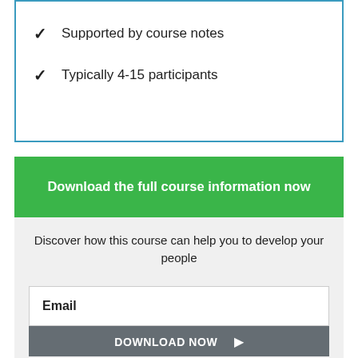Supported by course notes
Typically 4-15 participants
Download the full course information now
Discover how this course can help you to develop your people
Email
DOWNLOAD NOW